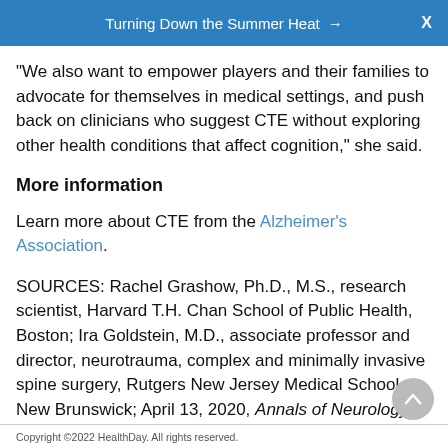Turning Down the Summer Heat → X
"We also want to empower players and their families to advocate for themselves in medical settings, and push back on clinicians who suggest CTE without exploring other health conditions that affect cognition," she said.
More information
Learn more about CTE from the Alzheimer's Association.
SOURCES: Rachel Grashow, Ph.D., M.S., research scientist, Harvard T.H. Chan School of Public Health, Boston; Ira Goldstein, M.D., associate professor and director, neurotrauma, complex and minimally invasive spine surgery, Rutgers New Jersey Medical School, New Brunswick; April 13, 2020, Annals of Neurology, online
Copyright ©2022 HealthDay. All rights reserved.